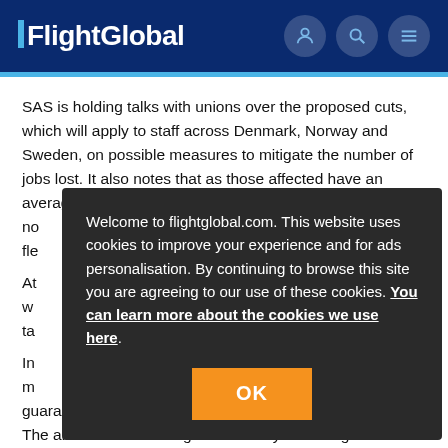FlightGlobal
SAS is holding talks with unions over the proposed cuts, which will apply to staff across Denmark, Norway and Sweden, on possible measures to mitigate the number of jobs lost. It also notes that as those affected have an average no... it fle...
At... w... ta...
Welcome to flightglobal.com. This website uses cookies to improve your experience and for ads personalisation. By continuing to browse this site you are agreeing to our use of these cookies. You can learn more about the cookies we use here.
In... 52 m...
guaranteed by the Swedish and Danish governments. The airline is also talking with Norway about a guarantee f...